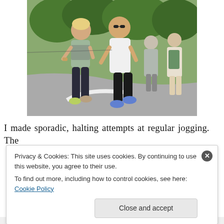[Figure (photo): People jogging and walking on a paved road outdoors. A woman in a floral tank top and black leggings runs on the left, a man in a white sleeveless shirt and black shorts runs in the center, and two people walk in the background. Trees and a fence are visible in the background.]
I made sporadic, halting attempts at regular jogging. The
Privacy & Cookies: This site uses cookies. By continuing to use this website, you agree to their use.
To find out more, including how to control cookies, see here: Cookie Policy